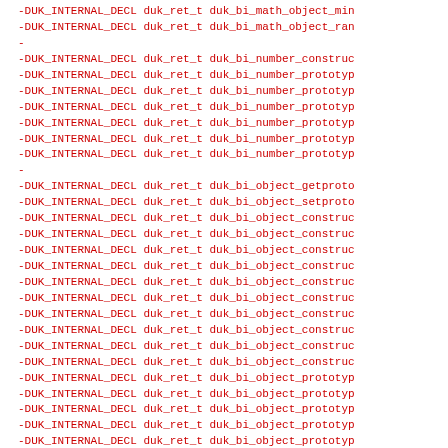-DUK_INTERNAL_DECL duk_ret_t duk_bi_math_object_min
-DUK_INTERNAL_DECL duk_ret_t duk_bi_math_object_ran
-
-DUK_INTERNAL_DECL duk_ret_t duk_bi_number_construc
-DUK_INTERNAL_DECL duk_ret_t duk_bi_number_prototyp
-DUK_INTERNAL_DECL duk_ret_t duk_bi_number_prototyp
-DUK_INTERNAL_DECL duk_ret_t duk_bi_number_prototyp
-DUK_INTERNAL_DECL duk_ret_t duk_bi_number_prototyp
-DUK_INTERNAL_DECL duk_ret_t duk_bi_number_prototyp
-DUK_INTERNAL_DECL duk_ret_t duk_bi_number_prototyp
-
-DUK_INTERNAL_DECL duk_ret_t duk_bi_object_getproto
-DUK_INTERNAL_DECL duk_ret_t duk_bi_object_setproto
-DUK_INTERNAL_DECL duk_ret_t duk_bi_object_construc
-DUK_INTERNAL_DECL duk_ret_t duk_bi_object_construc
-DUK_INTERNAL_DECL duk_ret_t duk_bi_object_construc
-DUK_INTERNAL_DECL duk_ret_t duk_bi_object_construc
-DUK_INTERNAL_DECL duk_ret_t duk_bi_object_construc
-DUK_INTERNAL_DECL duk_ret_t duk_bi_object_construc
-DUK_INTERNAL_DECL duk_ret_t duk_bi_object_construc
-DUK_INTERNAL_DECL duk_ret_t duk_bi_object_construc
-DUK_INTERNAL_DECL duk_ret_t duk_bi_object_construc
-DUK_INTERNAL_DECL duk_ret_t duk_bi_object_construc
-DUK_INTERNAL_DECL duk_ret_t duk_bi_object_prototyp
-DUK_INTERNAL_DECL duk_ret_t duk_bi_object_prototyp
-DUK_INTERNAL_DECL duk_ret_t duk_bi_object_prototyp
-DUK_INTERNAL_DECL duk_ret_t duk_bi_object_prototyp
-DUK_INTERNAL_DECL duk_ret_t duk_bi_object_prototyp
-DUK_INTERNAL_DECL duk_ret_t duk_bi_object_prototyp
-